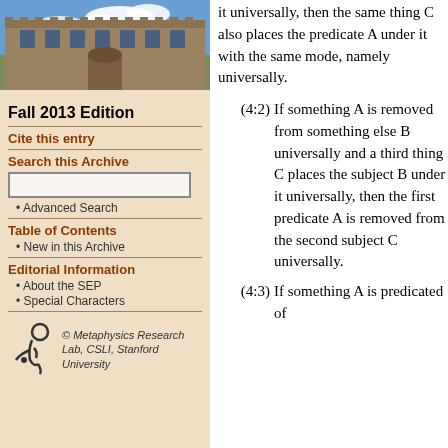[Figure (photo): Photo of a stone university building (quadrangle) against a blue sky]
Fall 2013 Edition
Cite this entry
Search this Archive
• Advanced Search
Table of Contents
• New in this Archive
Editorial Information
• About the SEP
• Special Characters
[Figure (logo): Metaphysics Research Lab logo with stylized figure]
© Metaphysics Research Lab, CSLI, Stanford University
it universally, then the same thing C also places the predicate A under it with the same mode, namely universally.
(4:2) If something A is removed from something else B universally and a third thing C places the subject B under it universally, then the first predicate A is removed from the second subject C universally.
(4:3) If something A is predicated of